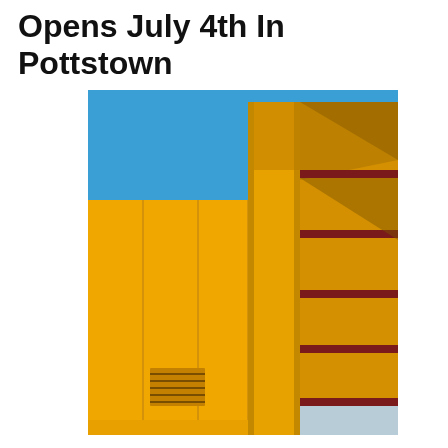Opens July 4th In Pottstown
[Figure (photo): Close-up photo of a bright yellow building exterior with blue sky in the background. The structure shows bold geometric forms — a tall yellow column or pillar in the center, yellow wall panels on the left with vertical seams and a ventilation grille near the bottom, and a multi-level parking garage facade on the right with dark red horizontal stripe accents. Bottom right shows a light blue/grey section. Strong sunlight creates diagonal shadow across the upper-right portion.]